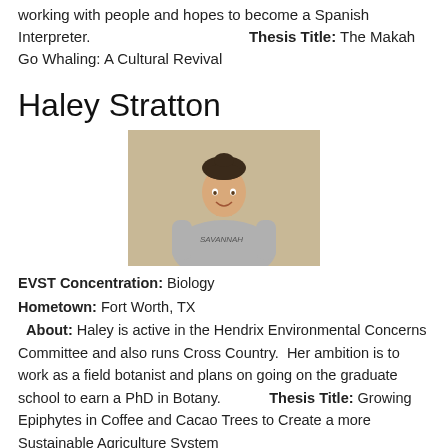working with people and hopes to become a Spanish Interpreter. Thesis Title: The Makah Go Whaling: A Cultural Revival
Haley Stratton
[Figure (photo): Portrait photo of Haley Stratton, a young woman with dark hair pulled up, wearing a gray Savannah sweatshirt, smiling, standing against a beige/tan background.]
EVST Concentration: Biology
Hometown: Fort Worth, TX
About: Haley is active in the Hendrix Environmental Concerns Committee and also runs Cross Country. Her ambition is to work as a field botanist and plans on going on the graduate school to earn a PhD in Botany. Thesis Title: Growing Epiphytes in Coffee and Cacao Trees to Create a more Sustainable Agriculture System